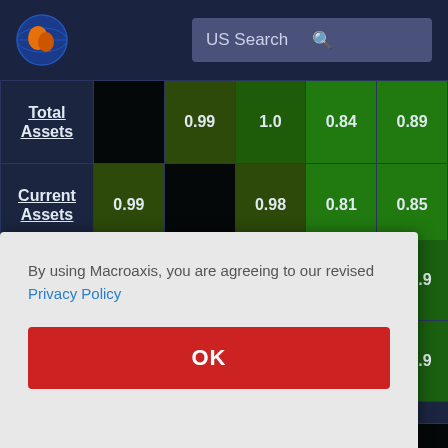[Figure (screenshot): Macroaxis website header with globe logo and US Search search bar on dark navy background]
|  |  |  |  |  |  |
| --- | --- | --- | --- | --- | --- |
| Total Assets |  | 0.99 | 1.0 | 0.84 | 0.89 |
| Current Assets | 0.99 |  | 0.98 | 0.81 | 0.85 |
By using Macroaxis, you are agreeing to our revised Privacy Policy
OK